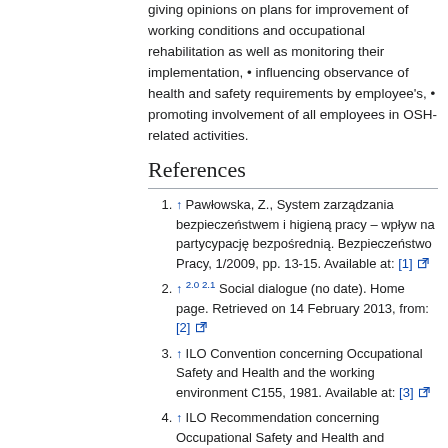giving opinions on plans for improvement of working conditions and occupational rehabilitation as well as monitoring their implementation, • influencing observance of health and safety requirements by employee's, • promoting involvement of all employees in OSH-related activities.
References
↑ Pawłowska, Z., System zarządzania bezpieczeństwem i higieną pracy – wpływ na partycypację bezpośrednią. Bezpieczeństwo Pracy, 1/2009, pp. 13-15. Available at: [1]
↑ 2.0 2.1 Social dialogue (no date). Home page. Retrieved on 14 February 2013, from: [2]
↑ ILO Convention concerning Occupational Safety and Health and the working environment C155, 1981. Available at: [3]
↑ ILO Recommendation concerning Occupational Safety and Health and